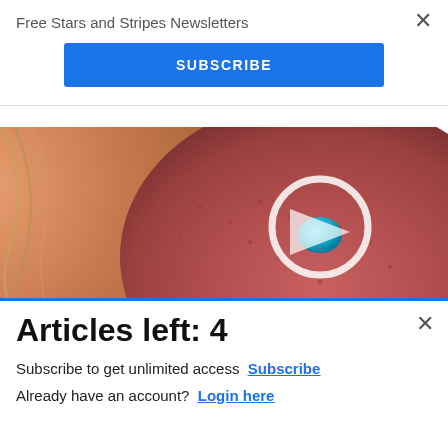Free Stars and Stripes Newsletters
SUBSCRIBE
[Figure (photo): Close-up photo of a human tongue with a small blue pill resting on it]
What They Didn't Want You Knowing About
[Figure (logo): Commissary Click2Go advertisement banner with green logo and commissary seal, text 'order groceries | PICKUP']
Articles left: 4
Subscribe to get unlimited access  Subscribe
Already have an account?  Login here